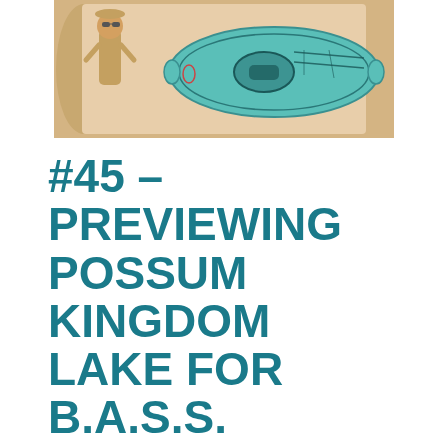[Figure (illustration): Illustration of a kayak (top-down view, teal/aqua color) with a person in explorer/adventurer outfit standing to the left, on a sandy/parchment scroll background]
#45 – PREVIEWING POSSUM KINGDOM LAKE FOR B.A.S.S. CHAMPIONSHIP W/ MATT SCOTCH &